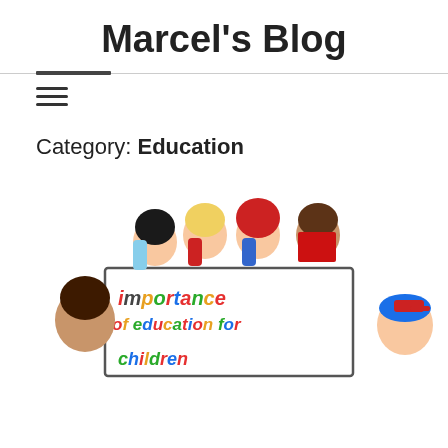Marcel's Blog
Category: Education
[Figure (illustration): Cartoon children holding a sign reading 'importance of education for' with colorful lettering. Four children visible above the sign and one child on each side.]